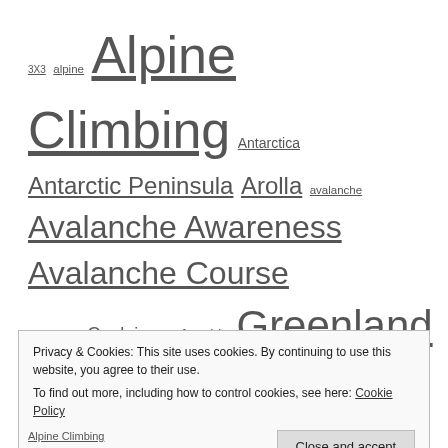3X3 alpine Alpine Climbing Antarctica Antarctic Peninsula Arolla avalanche Avalanche Awareness Avalanche Course Chamonix Couloir crag freeride Greenland Gulmarg Haute Route Heliskiing Ice Climbing India Kashmir Lake Geneva Matterhorn Mountain Biking movie Mt.Fort Nivocheck off-piste Off Piste Skiing Pointe Lachenal powder risk Rock Climbing sail Sailing Ski skiing Ski Mountaineering Ski Safari Ski Touring South Shetland Islands steep skiing Ushuaia Val d'Aoste Val d'Arpette Verbier
Privacy & Cookies: This site uses cookies. By continuing to use this website, you agree to their use.
To find out more, including how to control cookies, see here: Cookie Policy
Close and accept
Alpine Climbing